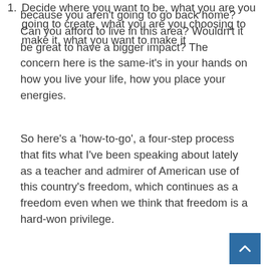because you aren't going to go back home? Can you afford to live in this area? Wouldn't it be great to have a bigger impact? The concern here is the same-it's in your hands on how you live your life, how you place your energies.
So here's a 'how-to-go', a four-step process that fits what I've been speaking about lately as a teacher and admirer of American use of this country's freedom, which continues as a freedom even when we think that freedom is a hard-won privilege.
Decide where you want to be, what you are you going to create, what you are you choosing to make it, what you want to make it